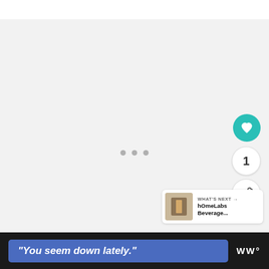[Figure (screenshot): Web page screenshot showing a white top navigation bar, a large light gray content area with three pagination dots, a teal heart/like button, count '1', and a share button on the right side, a 'WHAT'S NEXT' card showing 'hOmeLabs Beverage...' with a thumbnail, and a dark footer bar with a blue banner reading "You seem down lately." and a WW logo]
1
WHAT'S NEXT → hOmeLabs Beverage...
"You seem down lately."